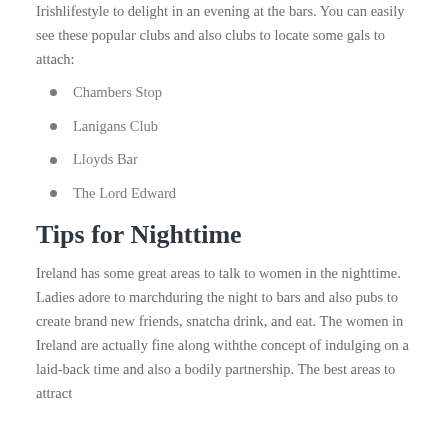Irishlifestyle to delight in an evening at the bars. You can easily see these popular clubs and also clubs to locate some gals to attach:
Chambers Stop
Lanigans Club
Lloyds Bar
The Lord Edward
Tips for Nighttime
Ireland has some great areas to talk to women in the nighttime. Ladies adore to marchduring the night to bars and also pubs to create brand new friends, snatcha drink, and eat. The women in Ireland are actually fine along withthe concept of indulging on a laid-back time and also a bodily partnership. The best areas to attract